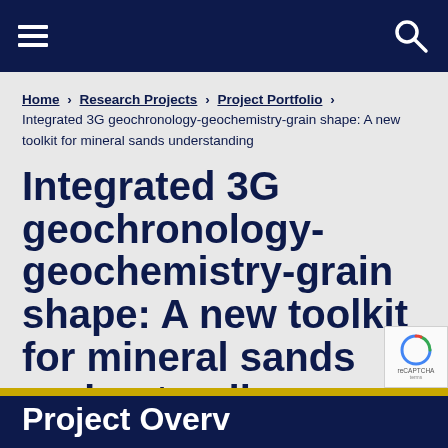Navigation bar with hamburger menu and search icon
Home > Research Projects > Project Portfolio > Integrated 3G geochronology-geochemistry-grain shape: A new toolkit for mineral sands understanding
Integrated 3G geochronology-geochemistry-grain shape: A new toolkit for mineral sands understanding
Project Overview